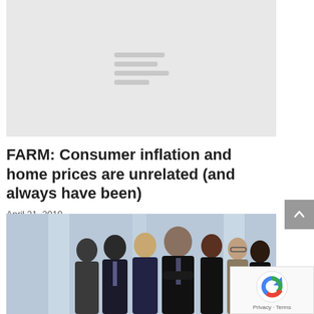[Figure (other): Gray placeholder image with loading lines indicating an image is loading]
FARM: Consumer inflation and home prices are unrelated (and always have been)
April 21, 2010
[Figure (photo): Group of business professionals in suits standing together, with a man in the center with arms crossed]